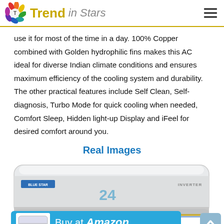Trend in Stars
use it for most of the time in a day. 100% Copper combined with Golden hydrophilic fins makes this AC ideal for diverse Indian climate conditions and ensures maximum efficiency of the cooling system and durability.  The other practical features include Self Clean, Self-diagnosis, Turbo Mode for quick cooling when needed, Comfort Sleep, Hidden light-up Display and iFeel for desired comfort around you.
Real Images
[Figure (photo): Blue Star inverter air conditioner indoor unit (wall-mounted split AC), white, showing display reading '24', with a 'Buy at Amazon' banner overlaid at the bottom.]